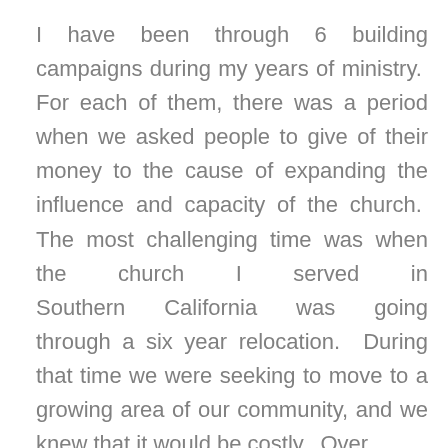I have been through 6 building campaigns during my years of ministry. For each of them, there was a period when we asked people to give of their money to the cause of expanding the influence and capacity of the church. The most challenging time was when the church I served in Southern California was going through a six year relocation. During that time we were seeking to move to a growing area of our community, and we knew that it would be costly. Over